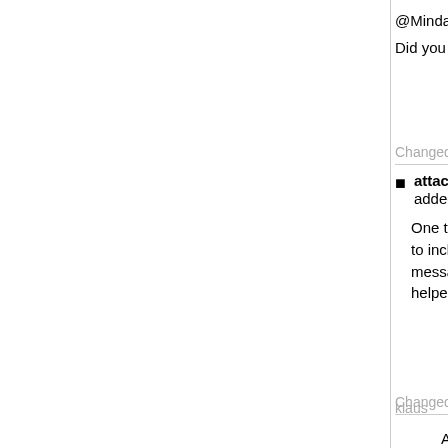@Mindaugas
Did you do the whole translation in 5 hours? Wow! :D
Changed 5 years ago by Mindaugas
attachment VirtualBox_lt.zip added
One typo fixed. Now is 76% translated, thus I hope sufficient to included in official release. Perviously there was about half messages translated and a lot other has marked fuzzy – it helped to translate.
Changed 5 years ago by   comment:205 klaus
As the 5.2 release isn't too far in the future (BETA testing already started), I have prepared new translation files containing the new text to be translated (the most complete translations from 5.1 are at about 83% in 5.2). These can be found at: